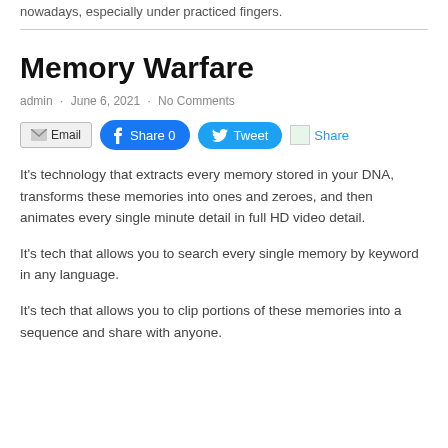nowadays, especially under practiced fingers.
Memory Warfare
admin · June 6, 2021 · No Comments
[Figure (other): Social sharing buttons: Email, Facebook Share 0, Tweet, Share]
It's technology that extracts every memory stored in your DNA, transforms these memories into ones and zeroes, and then animates every single minute detail in full HD video detail.
It's tech that allows you to search every single memory by keyword in any language.
It's tech that allows you to clip portions of these memories into a sequence and share with anyone.